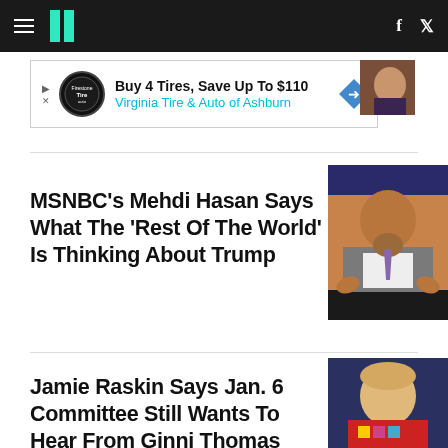HuffPost
[Figure (infographic): Advertisement banner: Buy 4 Tires, Save Up To $110 Virginia Tire & Auto of Ashburn]
[Figure (photo): Small partial photo top right, colorful]
MSNBC's Mehdi Hasan Says What The 'Rest Of The World' Is Thinking About Trump
[Figure (photo): Photo of Mehdi Hasan in suit speaking with hands raised, TV studio background]
Jamie Raskin Says Jan. 6 Committee Still Wants To Hear From Ginni Thomas
[Figure (photo): Photo of Ginni Thomas, blonde woman in red jacket looking up, blue background]